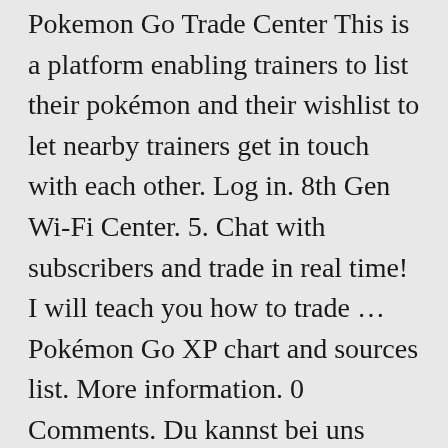Pokemon Go Trade Center This is a platform enabling trainers to list their pokémon and their wishlist to let nearby trainers get in touch with each other. Log in. 8th Gen Wi-Fi Center. 5. Chat with subscribers and trade in real time! I will teach you how to trade … Pokémon Go XP chart and sources list. More information. 0 Comments. Du kannst bei uns auch die besten Angriffe Deiner Pokemon … The trade distance is 40 km. 6. Pokémon GO ist ein kostenloses Augmented-RealityWikipedia icon.png-Spiel, das am 6. Pokémon GO Hub is the biggest Pokémon GO news site, publishing several informative guides, analysis, and news articles every month. Die Zeit kannst du dir gerne durch das